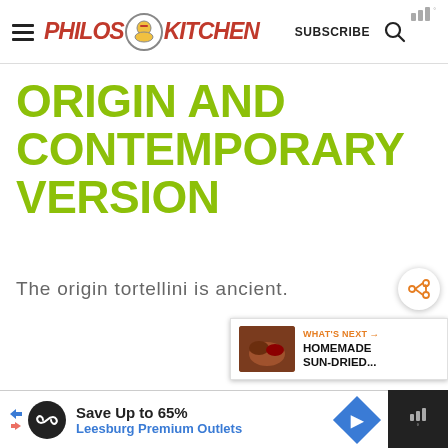Philos Kitchen — SUBSCRIBE
ORIGIN AND CONTEMPORARY VERSION
The origin tortellini is ancient.
[Figure (other): Share button (circular icon with share symbol)]
[Figure (other): What's Next panel: HOMEMADE SUN-DRIED... with food thumbnail]
[Figure (other): Advertisement banner: Save Up to 65% Leesburg Premium Outlets]